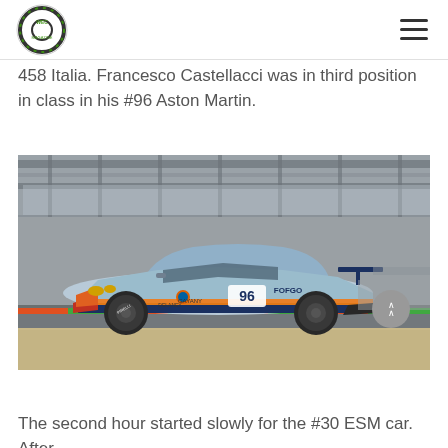WEC Magazine logo and navigation menu
458 Italia. Francesco Castellacci was in third position in class in his #96 Aston Martin.
[Figure (photo): Aston Martin #96 Gulf-liveried GTE racing car on track, light blue and orange livery with Gulf and FOFGO sponsorship, car number 96 visible on door]
The second hour started slowly for the #30 ESM car. After